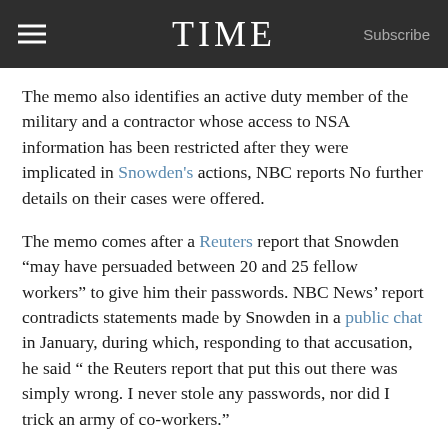TIME  Subscribe
The memo also identifies an active duty member of the military and a contractor whose access to NSA information has been restricted after they were implicated in Snowden's actions, NBC reports No further details on their cases were offered.
The memo comes after a Reuters report that Snowden “may have persuaded between 20 and 25 fellow workers” to give him their passwords. NBC News’ report contradicts statements made by Snowden in a public chat in January, during which, responding to that accusation, he said “ the Reuters report that put this out there was simply wrong. I never stole any passwords, nor did I trick an army of co-workers.”
[NBC News]